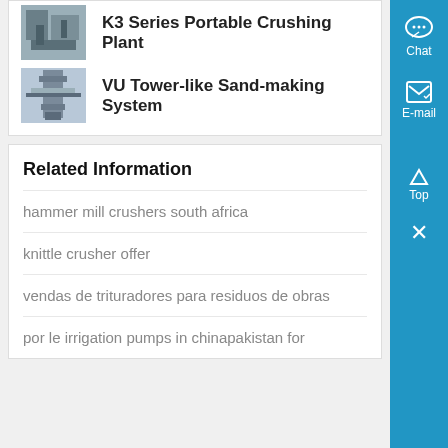[Figure (photo): Industrial crushing plant machinery photo (partial, top of card)]
K3 Series Portable Crushing Plant
[Figure (photo): VU Tower-like sand-making system industrial equipment photo]
VU Tower-like Sand-making System
Related Information
hammer mill crushers south africa
knittle crusher offer
vendas de trituradores para residuos de obras
por le irrigation pumps in chinapakistan for